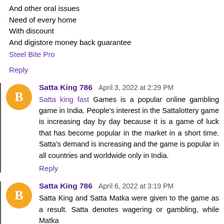And other oral issues
Need of every home
With discount
And digistore money back guarantee
Steel Bite Pro
Reply
Satta King 786  April 3, 2022 at 2:29 PM
Satta king fast Games is a popular online gambling game in India. People's interest in the Sattalottery game is increasing day by day because it is a game of luck that has become popular in the market in a short time. Satta's demand is increasing and the game is popular in all countries and worldwide only in India.
Reply
Satta King 786  April 6, 2022 at 3:19 PM
Satta King and Satta Matka were given to the game as a result. Satta denotes wagering or gambling, while Matka